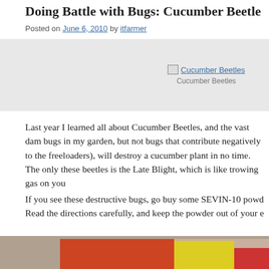Doing Battle with Bugs: Cucumber Beetle...
Posted on June 6, 2010 by itfarmer
[Figure (photo): Image placeholder for Cucumber Beetles with caption 'Cucumber Beetles']
Last year I learned all about Cucumber Beetles, and the vast dam... bugs in my garden, but not bugs that contribute negatively to the... freeloaders), will destroy a cucumber plant in no time. The only... these beetles is the Late Blight, which is like trowing gas on you...
If you see these destructive bugs, go buy some SEVIN-10 powd... Read the directions carefully, and keep the powder out of your e...
[Figure (photo): Photo of a red and yellow SEVIN-10 powder bag on soil]